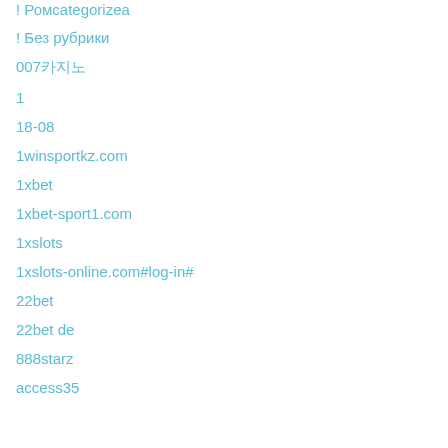! Ромcategorizea
! Без рубрики
007카지노
1
18-08
1winsportkz.com
1xbet
1xbet-sport1.com
1xslots
1xslots-online.com#log-in#
22bet
22bet de
888starz
access35